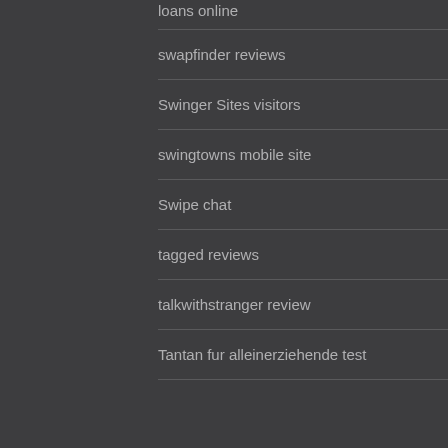loans online
swapfinder reviews
Swinger Sites visitors
swingtowns mobile site
Swipe chat
tagged reviews
talkwithstranger review
Tantan fur alleinerziehende test